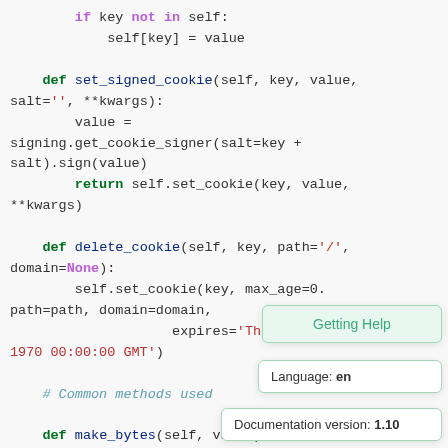[Figure (screenshot): Python source code snippet showing methods: set_signed_cookie, delete_cookie, and make_bytes, with syntax highlighting. An overlay panel shows 'Getting Help', 'Language: en', and 'Documentation version: 1.10'.]